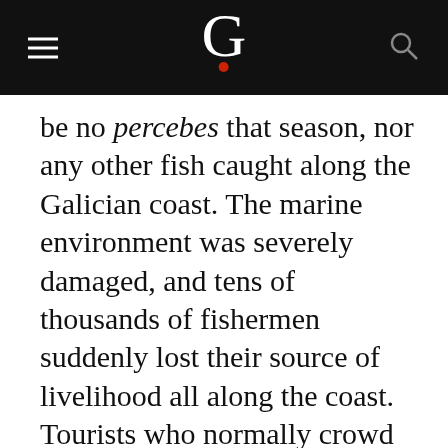G
be no percebes that season, nor any other fish caught along the Galician coast. The marine environment was severely damaged, and tens of thousands of fishermen suddenly lost their source of livelihood all along the coast. Tourists who normally crowd this area in the spring and summer stayed away.